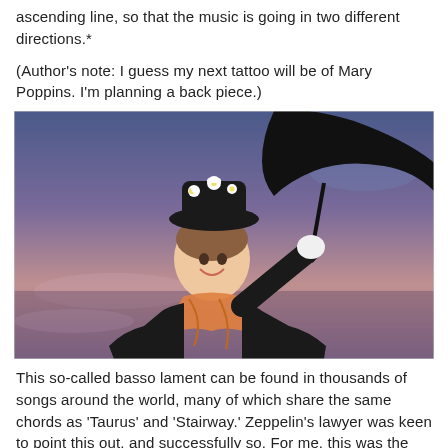ascending line, so that the music is going in two different directions.*
(Author's note: I guess my next tattoo will be of Mary Poppins. I'm planning a back piece.)
[Figure (photo): Color photo of Julie Andrews as Mary Poppins, wearing a black coat and hat with white daisies, orange scarf, holding a black umbrella against a purple-blue sky background.]
This so-called basso lament can be found in thousands of songs around the world, many of which share the same chords as 'Taurus' and 'Stairway.' Zeppelin's lawyer was keen to point this out, and successfully so. For me, this was the argument that won the day – that you can't copyright a chord progression, and a chord